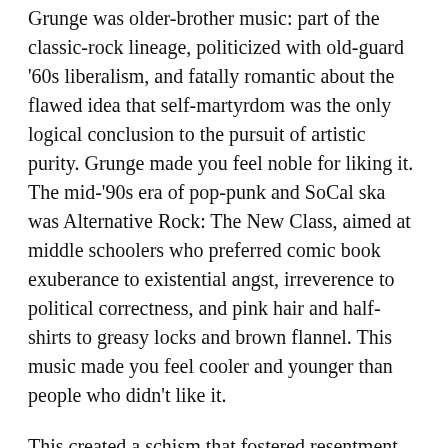Grunge was older-brother music: part of the classic-rock lineage, politicized with old-guard '60s liberalism, and fatally romantic about the flawed idea that self-martyrdom was the only logical conclusion to the pursuit of artistic purity. Grunge made you feel noble for liking it. The mid-'90s era of pop-punk and SoCal ska was Alternative Rock: The New Class, aimed at middle schoolers who preferred comic book exuberance to existential angst, irreverence to political correctness, and pink hair and half-shirts to greasy locks and brown flannel. This music made you feel cooler and younger than people who didn't like it.
This created a schism that fostered resentment among the twentysomethings and teenagers who cared about grunge and the slightly younger teenagers and little kids who cared about Green Day and No Doubt, and that divide still exists for some of us, in terms of how these bands are judged. Billie Joe Armstrong turned 40 this year, and Gwen Stefani is a 42-year-old mother of two. But in musical terms, they are eternally 14, bratty, and a little hard to take seriously.³